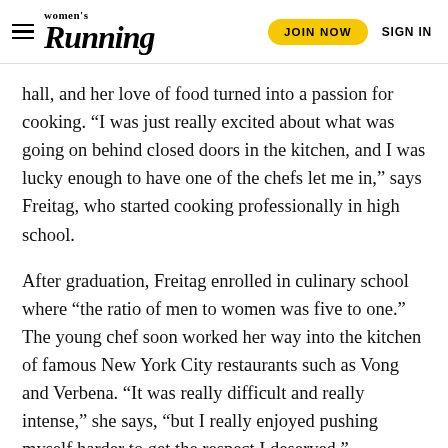Women's Running | JOIN NOW | SIGN IN
hall, and her love of food turned into a passion for cooking. “I was just really excited about what was going on behind closed doors in the kitchen, and I was lucky enough to have one of the chefs let me in,” says Freitag, who started cooking professionally in high school.
After graduation, Freitag enrolled in culinary school where “the ratio of men to women was five to one.” The young chef soon worked her way into the kitchen of famous New York City restaurants such as Vong and Verbena. “It was really difficult and really intense,” she says, “but I really enjoyed pushing myself harder to get the respect I deserved.”
But as Freitag was busy building her resume as a chef, her health ended up on the back burner. New opportunities with the Food Network meant more travel and food critique, so